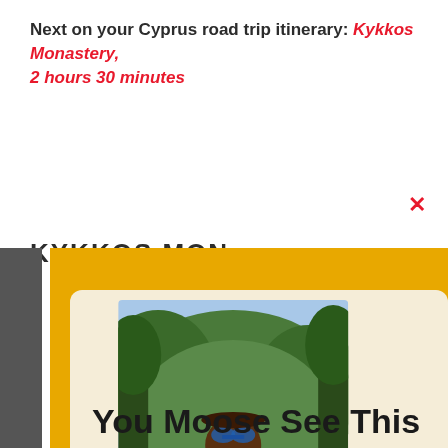Next on your Cyprus road trip itinerary: Kykkos Monastery, 2 hours 30 minutes
KYKKOS MONASTERY
[Figure (photo): Person wearing a backpack with a moose patch, seen from behind, surrounded by green trees and foliage]
You Moose See This